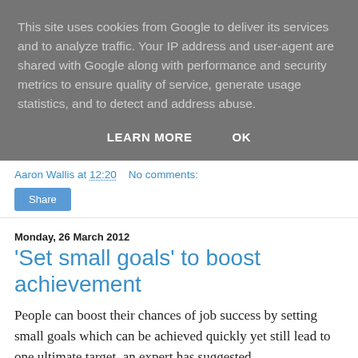This site uses cookies from Google to deliver its services and to analyze traffic. Your IP address and user-agent are shared with Google along with performance and security metrics to ensure quality of service, generate usage statistics, and to detect and address abuse.
LEARN MORE   OK
Aaron Wallis at 12:20    No comments:
Share
Monday, 26 March 2012
'Set small goals' to boost achievement
People can boost their chances of job success by setting small goals which can be achieved quickly yet still lead to one ultimate target, an expert has suggested.
Debbie Catt, managing director of Cattconsulting.com, said that people should not only have one target on their horizon